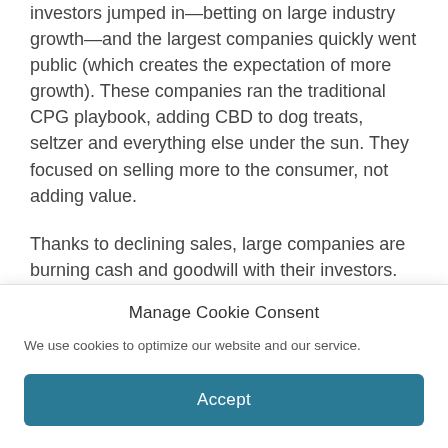investors jumped in—betting on large industry growth—and the largest companies quickly went public (which creates the expectation of more growth). These companies ran the traditional CPG playbook, adding CBD to dog treats, seltzer and everything else under the sun. They focused on selling more to the consumer, not adding value.
Thanks to declining sales, large companies are burning cash and goodwill with their investors. They're banking on a federal bailout: that the FDA
Manage Cookie Consent
We use cookies to optimize our website and our service.
Accept